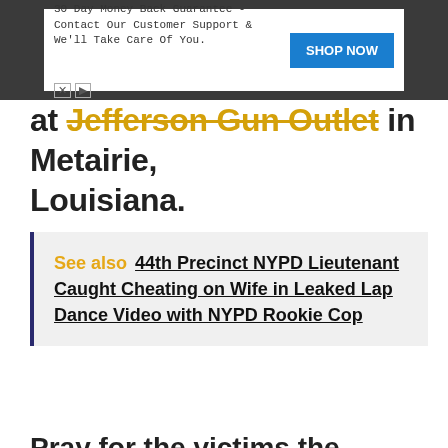[Figure (other): Advertisement banner: '30 Day Money Back Guarantee - Contact Our Customer Support & We'll Take Care Of You.' with a blue 'SHOP NOW' button]
at Jefferson Gun Outlet in Metairie, Louisiana.
See also  44th Precinct NYPD Lieutenant Caught Cheating on Wife in Leaked Lap Dance Video with NYPD Rookie Cop
Pray for the victims the Boulder Colorado King Soopers Mass Shooting. Hopefully the shooter will be caught soon.